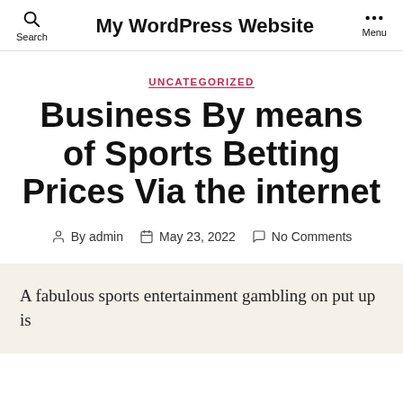My WordPress Website  Search  Menu
UNCATEGORIZED
Business By means of Sports Betting Prices Via the internet
By admin   May 23, 2022   No Comments
A fabulous sports entertainment gambling on put up is